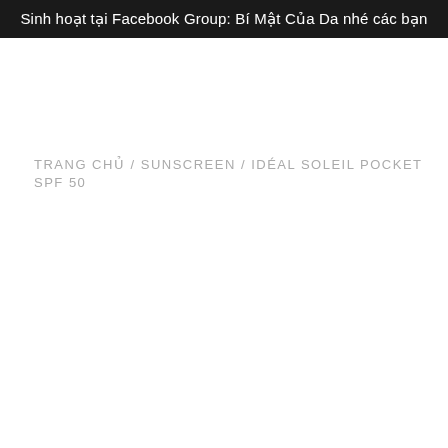Sinh hoạt tại Facebook Group: Bí Mật Của Da nhé các bạn
TRANG CHỦ / SUNSCREEN / IDÉAL SOLEIL POCKET SPF 50